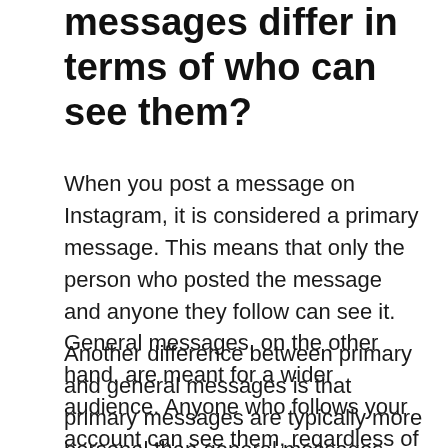messages differ in terms of who can see them?
When you post a message on Instagram, it is considered a primary message. This means that only the person who posted the message and anyone they follow can see it. General messages, on the other hand, are meant for a wider audience. Anyone who follows your account can see them, regardless of whether they have followed you before or not.
Another difference between primary and general messages is that primary messages are typically more personal than general messages. For example, if you're posting about your day, a primary message would be more intimate than if you were posting about